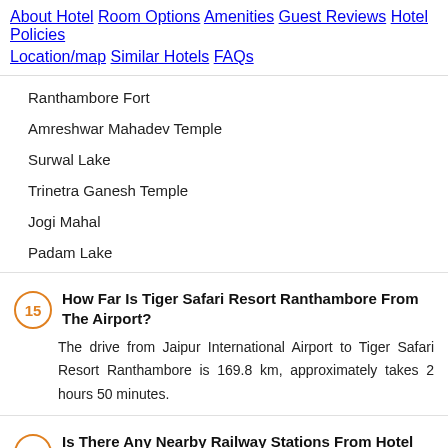About Hotel   Room Options   Amenities   Guest Reviews   Hotel Policies   Location/map   Similar Hotels   FAQs
Ranthambore Fort
Amreshwar Mahadev Temple
Surwal Lake
Trinetra Ganesh Temple
Jogi Mahal
Padam Lake
15  How Far Is Tiger Safari Resort Ranthambore From The Airport?
The drive from Jaipur International Airport to Tiger Safari Resort Ranthambore is 169.8 km, approximately takes 2 hours 50 minutes.
16  Is There Any Nearby Railway Stations From Hotel Tiger Safari Resort Ranthambore?